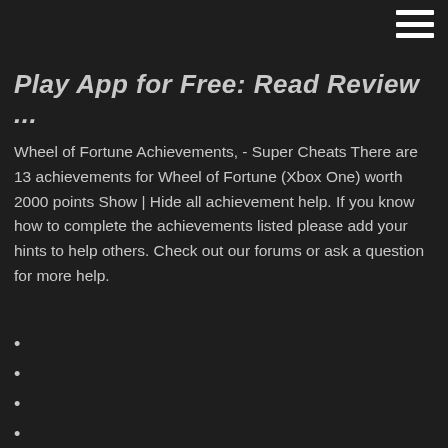Play App for Free: Read Review ...
Wheel of Fortune Achievements, - Super Cheats There are 13 achievements for Wheel of Fortune (Xbox One) worth 2000 points Show | Hide all achievement help. If you know how to complete the achievements listed please add your hints to help others. Check out our forums or ask a question for more help.
Online casino instant play